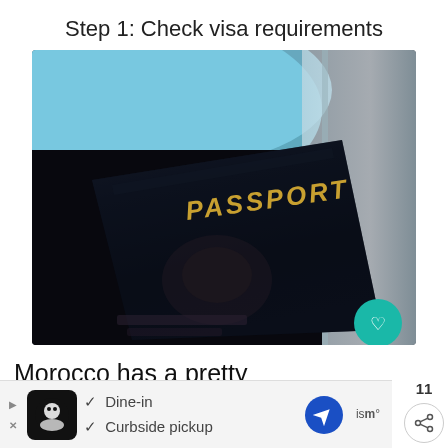Step 1: Check visa requirements
[Figure (photo): A dark-colored US passport book photographed against an airplane window with blue sky visible. The word PASSPORT is printed in gold letters on the cover. A circular teal heart/save button overlays the bottom-right corner of the image.]
Morocco has a pretty permissive visa policy. At present, here are the
[Figure (screenshot): An advertisement bar at the bottom of the screen showing a restaurant listing. Contains a play/close button, a restaurant logo (black circle with chef figure), checkmarks for 'Dine-in' and 'Curbside pickup', a blue navigation arrow icon, and weather/other app icons.]